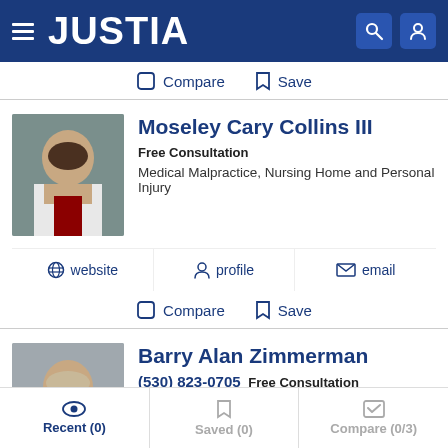JUSTIA
Compare  Save
Moseley Cary Collins III
Free Consultation
Medical Malpractice, Nursing Home and Personal Injury
website  profile  email
Compare  Save
Barry Alan Zimmerman
(530) 823-0705  Free Consultation
Medical Malpractice, Insurance Claims, Personal Injury and...
Recent (0)  Saved (0)  Compare (0/3)